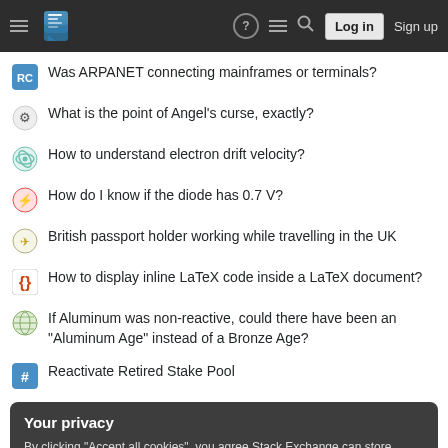Stack Exchange navigation bar with Log in and Sign up buttons
Was ARPANET connecting mainframes or terminals?
What is the point of Angel's curse, exactly?
How to understand electron drift velocity?
How do I know if the diode has 0.7 V?
British passport holder working while travelling in the UK
How to display inline LaTeX code inside a LaTeX document?
If Aluminum was non-reactive, could there have been an "Aluminum Age" instead of a Bronze Age?
Reactivate Retired Stake Pool
Your privacy
By clicking "Accept all cookies", you agree Stack Exchange can store cookies on your device and disclose information in accordance with our Cookie Policy.
Accept all cookies   Customize settings
LaTeX3 "V" expansion in braces